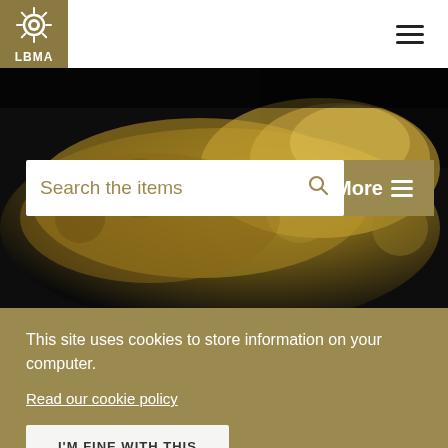[Figure (logo): LBMA logo — white sunflower/gear icon above text LBMA on a dark golden-brown background square]
[Figure (photo): Close-up photograph of a rough gold nugget/ore specimen against a dark background, sepia-toned]
Search the items
More ≡
This site uses cookies to store information on your computer.
Read our cookie policy
I'M FINE WITH THIS